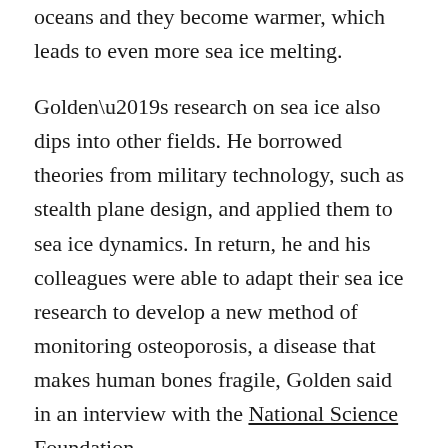oceans and they become warmer, which leads to even more sea ice melting.
Golden's research on sea ice also dips into other fields. He borrowed theories from military technology, such as stealth plane design, and applied them to sea ice dynamics. In return, he and his colleagues were able to adapt their sea ice research to develop a new method of monitoring osteoporosis, a disease that makes human bones fragile, Golden said in an interview with the National Science Foundation.
The PHOENIX had a chance to chat with Golden about killer whales, Home Depot and the “wild west” of mathematics after his lecture on math and melting sea ice at Loyola on Sept. 29.